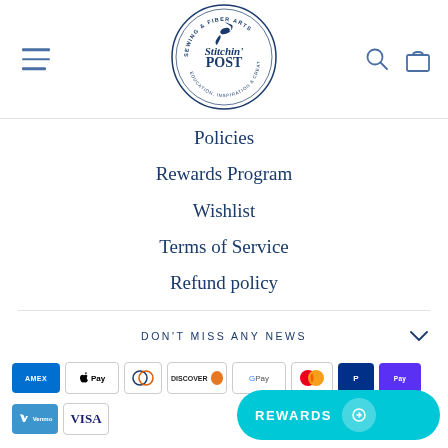[Figure (logo): Stitchin' Post Sewing & Fiber Arts circular logo with hummingbird]
Policies
Rewards Program
Wishlist
Terms of Service
Refund policy
DON'T MISS ANY NEWS
[Figure (other): Payment method icons: Amex, Apple Pay, Diners Club, Discover, Google Pay, Mastercard, PayPal, Shop Pay, Venmo, Visa]
[Figure (other): REWARDS loyalty button in teal/cyan color]